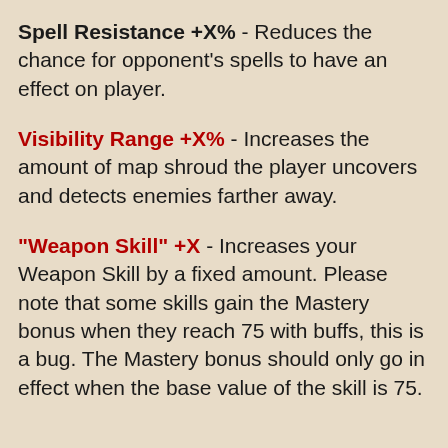Spell Resistance +X% - Reduces the chance for opponent's spells to have an effect on player.
Visibility Range +X% - Increases the amount of map shroud the player uncovers and detects enemies farther away.
"Weapon Skill" +X - Increases your Weapon Skill by a fixed amount. Please note that some skills gain the Mastery bonus when they reach 75 with buffs, this is a bug. The Mastery bonus should only go in effect when the base value of the skill is 75.